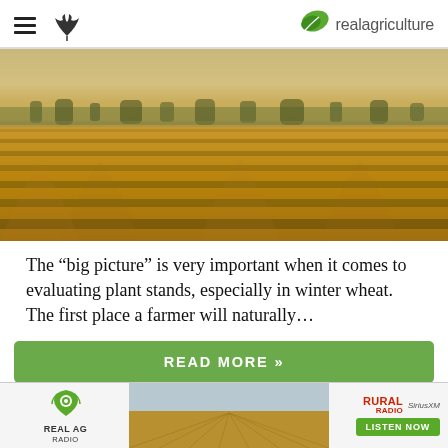realagriculture
[Figure (photo): Wide aerial view of a golden wheat field under a hazy sky with distant treeline]
The “big picture” is very important when it comes to evaluating plant stands, especially in winter wheat. The first place a farmer will naturally…
READ MORE »
[Figure (advertisement): Real AG Radio advertisement banner with Rural Radio and SiriusXM logos and Listen Now button]